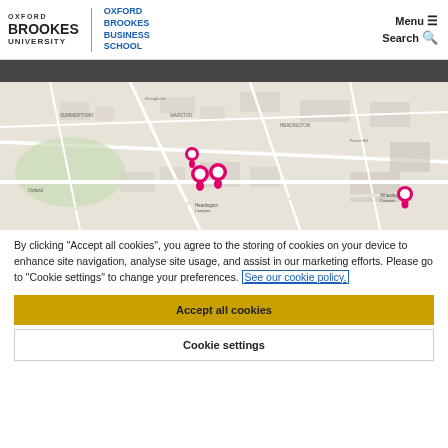[Figure (logo): Oxford Brookes University and Oxford Brookes Business School logo with Menu and Search navigation buttons]
[Figure (map): Google-style street map of Oxford area showing three pink location pin markers: one near Headington Campus area and one near Wheatley Campus on the right side]
By clicking "Accept all cookies", you agree to the storing of cookies on your device to enhance site navigation, analyse site usage, and assist in our marketing efforts. Please go to "Cookie settings" to change your preferences. See our cookie policy.
Accept all cookies
Cookie settings